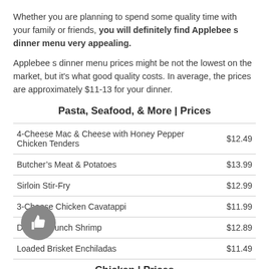Whether you are planning to spend some quality time with your family or friends, you will definitely find Applebee s dinner menu very appealing.
Applebee s dinner menu prices might be not the lowest on the market, but it's what good quality costs. In average, the prices are approximately $11-13 for your dinner.
Pasta, Seafood, & More | Prices
| Item | Price |
| --- | --- |
| 4-Cheese Mac & Cheese with Honey Pepper Chicken Tenders | $12.49 |
| Butcher’s Meat & Potatoes | $13.99 |
| Sirloin Stir-Fry | $12.99 |
| 3-Cheese Chicken Cavatappi | $11.99 |
| Double Crunch Shrimp | $12.89 |
| Loaded Brisket Enchiladas | $11.49 |
Chicken | Prices